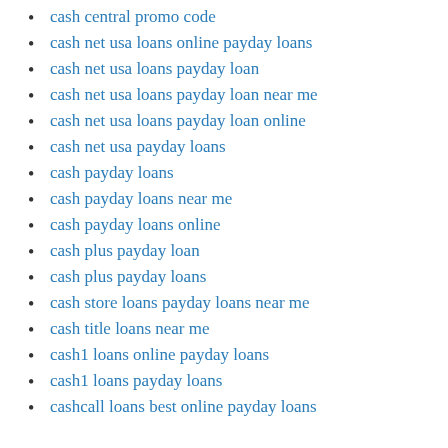cash central promo code
cash net usa loans online payday loans
cash net usa loans payday loan
cash net usa loans payday loan near me
cash net usa loans payday loan online
cash net usa payday loans
cash payday loans
cash payday loans near me
cash payday loans online
cash plus payday loan
cash plus payday loans
cash store loans payday loans near me
cash title loans near me
cash1 loans online payday loans
cash1 loans payday loans
cashcall loans best online payday loans